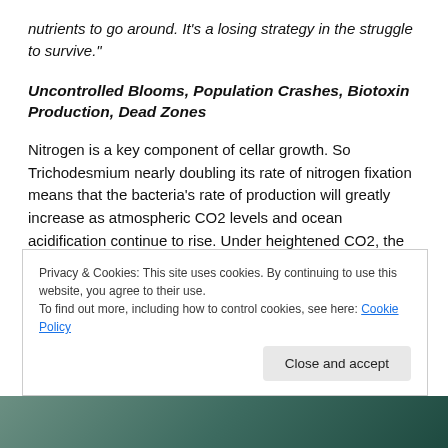nutrients to go around. It's a losing strategy in the struggle to survive."
Uncontrolled Blooms, Population Crashes, Biotoxin Production, Dead Zones
Nitrogen is a key component of cellar growth. So Trichodesmium nearly doubling its rate of nitrogen fixation means that the bacteria's rate of production will greatly increase as atmospheric CO2 levels and ocean acidification continue to rise. Under heightened CO2, the bacteria essentially loses its ability to restrain its
Privacy & Cookies: This site uses cookies. By continuing to use this website, you agree to their use.
To find out more, including how to control cookies, see here: Cookie Policy
[Figure (photo): Photograph strip at the bottom of the page showing ocean or algae bloom imagery]